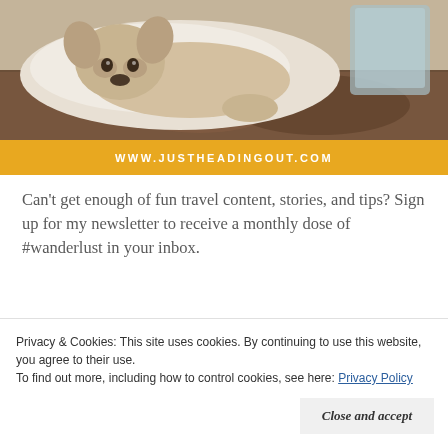[Figure (photo): Photo of a French bulldog lying on a white blanket/dog bed, with a patterned rug visible in the background. Below the photo is a golden/amber banner with the URL WWW.JUSTHEADINGOUT.COM in white uppercase letters.]
Can't get enough of fun travel content, stories, and tips? Sign up for my newsletter to receive a monthly dose of #wanderlust in your inbox.
Privacy & Cookies: This site uses cookies. By continuing to use this website, you agree to their use.
To find out more, including how to control cookies, see here: Privacy Policy
Close and accept